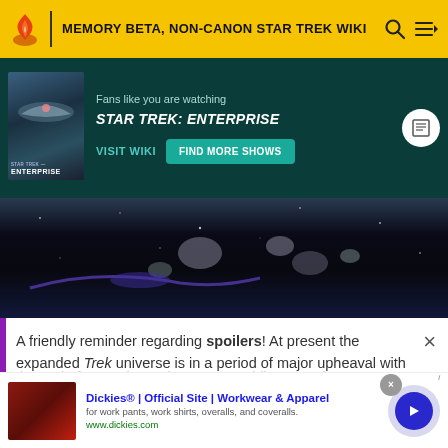MEMORY BETA, NON-CANON STAR TREK WIKI
[Figure (screenshot): Fandom promo banner for Star Trek: Enterprise with dark teal background, show cover art, 'Fans like you are watching STAR TREK: ENTERPRISE', VISIT WIKI and FIND MORE SHOWS buttons]
[Figure (photo): Space scene with asteroids and spacecraft against dark space background]
A friendly reminder regarding spoilers! At present the expanded Trek universe is in a period of major upheaval with
READ MORE
[Figure (screenshot): Advertisement for Dickies Official Site - Workwear & Apparel, for work pants, work shirts, overalls, and coveralls. www.dickies.com]